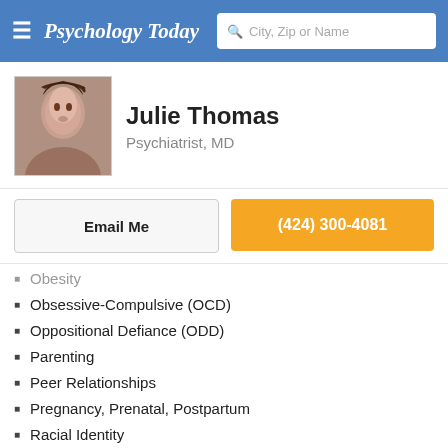Psychology Today — City, Zip or Name search bar
Julie Thomas
Psychiatrist, MD
Email Me | (424) 300-4081
Obesity
Obsessive-Compulsive (OCD)
Oppositional Defiance (ODD)
Parenting
Peer Relationships
Pregnancy, Prenatal, Postpartum
Racial Identity
Relationship Issues
School Issues
Self Esteem
Self-Harming
Sex Therapy